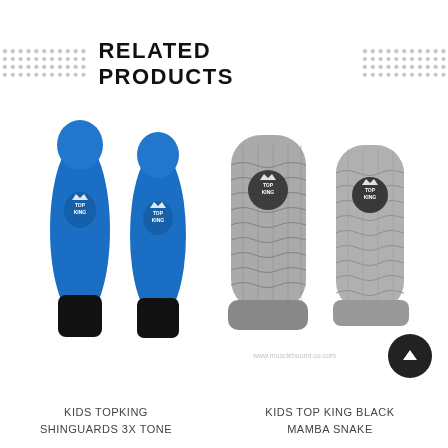RELATED PRODUCTS
[Figure (photo): Blue kids Top King shinguards, two pads shown side by side]
[Figure (photo): Gray/silver snakeskin pattern kids Top King Black Mamba shinguards, two pads shown side by side]
KIDS TOPKING SHINGUARDS 3X TONE
KIDS TOP KING BLACK MAMBA SNAKE